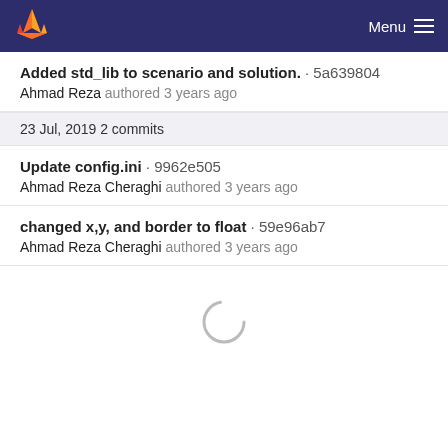GitLab — Menu
Added std_lib to scenario and solution. · 5a639804
Ahmad Reza authored 3 years ago
23 Jul, 2019 2 commits
Update config.ini · 9962e505
Ahmad Reza Cheraghi authored 3 years ago
changed x,y, and border to float · 59e96ab7
Ahmad Reza Cheraghi authored 3 years ago
[Figure (other): Loading spinner circle indicator]